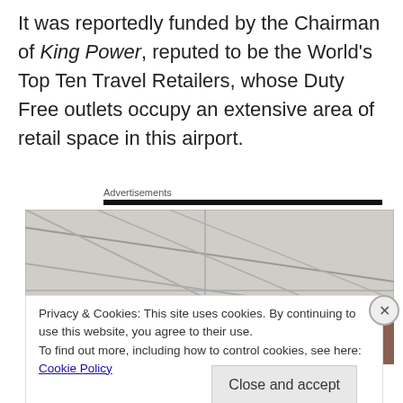It was reportedly funded by the Chairman of King Power, reputed to be the World's Top Ten Travel Retailers, whose Duty Free outlets occupy an extensive area of retail space in this airport.
Advertisements
[Figure (photo): Photograph showing an interior ceiling/roof structure with diagonal lines, likely an airport terminal. A dark brown/maroon object is partially visible in the lower right area of the image.]
Privacy & Cookies: This site uses cookies. By continuing to use this website, you agree to their use.
To find out more, including how to control cookies, see here: Cookie Policy